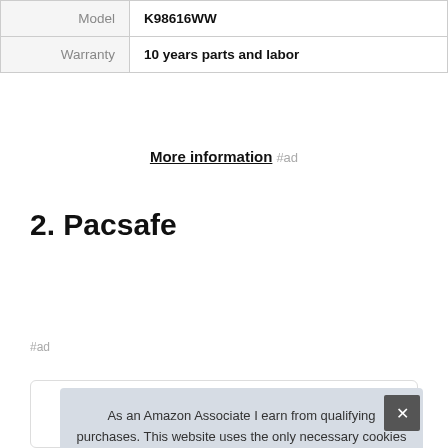| Model | K98616WW |
| Warranty | 10 years parts and labor |
More information #ad
2. Pacsafe
#ad
As an Amazon Associate I earn from qualifying purchases. This website uses the only necessary cookies to ensure you get the best experience on our website. More information